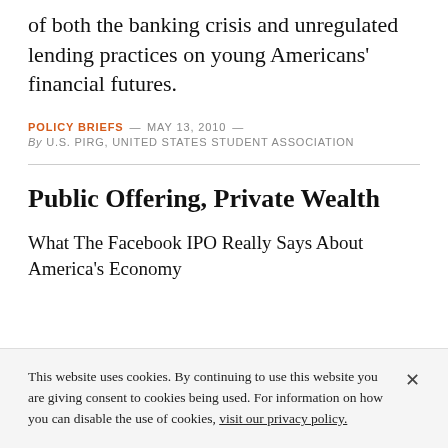of both the banking crisis and unregulated lending practices on young Americans' financial futures.
POLICY BRIEFS — MAY 13, 2010 — By U.S. PIRG, UNITED STATES STUDENT ASSOCIATION
Public Offering, Private Wealth
What The Facebook IPO Really Says About America's Economy
This website uses cookies. By continuing to use this website you are giving consent to cookies being used. For information on how you can disable the use of cookies, visit our privacy policy.